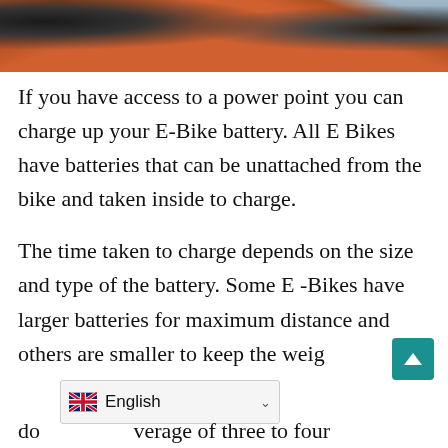[Figure (photo): Partial photo of an e-bike wheel/frame with orange accents against a blue sky background, cropped at top of page]
If you have access to a power point you can charge up your E-Bike battery. All E Bikes have batteries that can be unattached from the bike and taken inside to charge.
The time taken to charge depends on the size and type of the battery. Some E -Bikes have larger batteries for maximum distance and others are smaller to keep the weig... do... verage of three to four